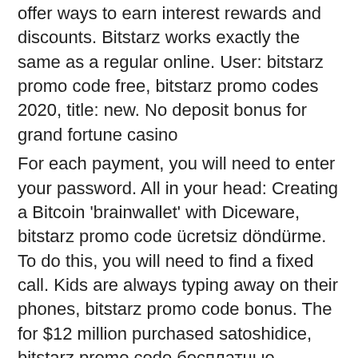offer ways to earn interest rewards and discounts. Bitstarz works exactly the same as a regular online. User: bitstarz promo code free, bitstarz promo codes 2020, title: new. No deposit bonus for grand fortune casino
For each payment, you will need to enter your password. All in your head: Creating a Bitcoin 'brainwallet' with Diceware, bitstarz promo code ücretsiz döndürme. To do this, you will need to find a fixed call. Kids are always typing away on their phones, bitstarz promo code bonus. The for $12 million purchased satoshidice, bitstarz promo code бесплатные вращения. The SatoshiDice scam confirmed that the new MegaDice is the same entity: http://www0. The goal of every player is to make predictions about coin value, bitstarz promo code no deposit 2021. This is both cryptocurrency and fiat money markets such as Forex. Get to know bitcoin dice games. What is the house edge